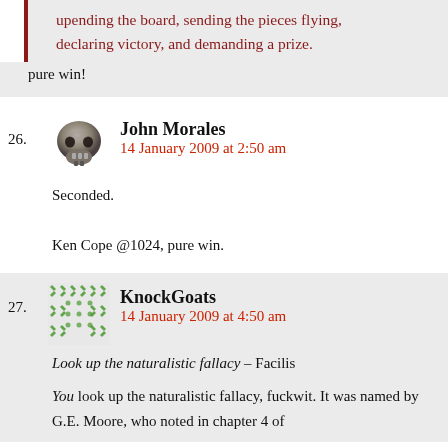upending the board, sending the pieces flying, declaring victory, and demanding a prize.
pure win!
26. John Morales
14 January 2009 at 2:50 am
Seconded.
Ken Cope @1024, pure win.
27. KnockGoats
14 January 2009 at 4:50 am
Look up the naturalistic fallacy – Facilis
You look up the naturalistic fallacy, fuckwit. It was named by G.E. Moore, who noted in chapter 4 of